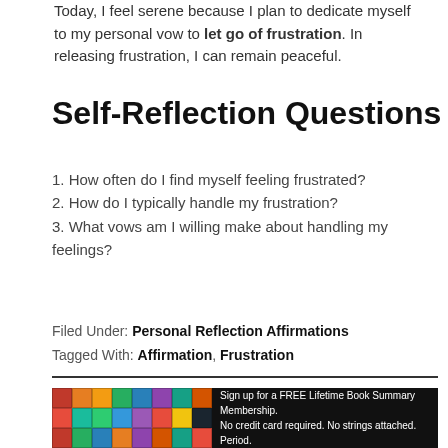Today, I feel serene because I plan to dedicate myself to my personal vow to let go of frustration. In releasing frustration, I can remain peaceful.
Self-Reflection Questions
1. How often do I find myself feeling frustrated?
2. How do I typically handle my frustration?
3. What vows am I willing make about handling my feelings?
Filed Under: Personal Reflection Affirmations
Tagged With: Affirmation, Frustration
[Figure (infographic): Black banner with colorful book covers on the left side and text on the right: 'Sign up for a FREE Lifetime Book Summary Membership. No credit card required. No strings attached. Period.']